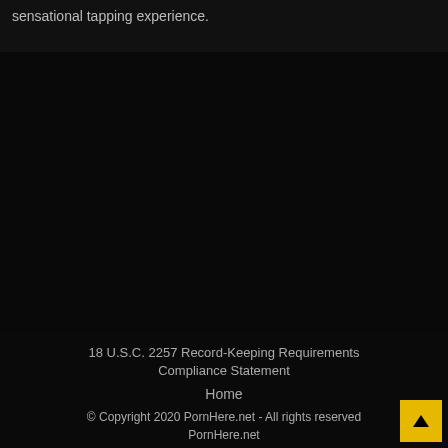sensational tapping experience.
18 U.S.C. 2257 Record-Keeping Requirements Compliance Statement
Home
© Copyright 2020 PornHere.net - All rights reserved PornHere.net